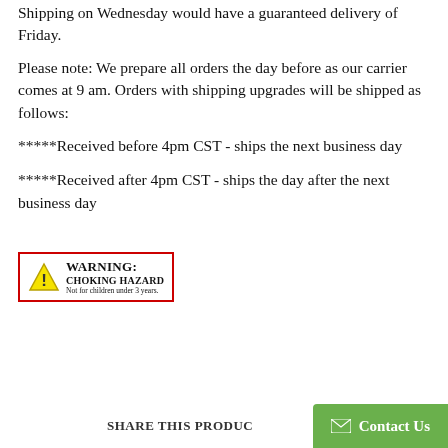Shipping on Wednesday would have a guaranteed delivery of Friday.
Please note: We prepare all orders the day before as our carrier comes at 9 am. Orders with shipping upgrades will be shipped as follows:
*****Received before 4pm CST - ships the next business day
*****Received after 4pm CST - ships the day after the next business day
[Figure (other): WARNING: CHOKING HAZARD - Not for children under 3 years. Red-bordered warning label with yellow triangle warning icon.]
SHARE THIS PRODUCT
Contact Us